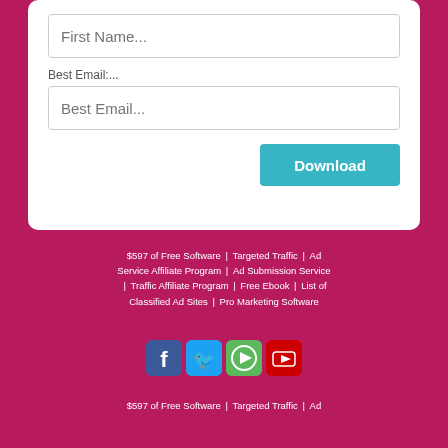[Figure (screenshot): Web form with First Name input field (placeholder text 'First Name...')]
Best Email:...
[Figure (screenshot): Best Email input field with placeholder text 'Best Email...']
[Figure (screenshot): Download button in teal/cyan color]
$597 of Free Software | Targeted Traffic | Ad Service Affiliate Program | Ad Submission Service | Traffic Affiliate Program | Free Ebook | List of Classified Ad Sites | Pro Marketing Software
[Figure (infographic): Social media icons: Facebook, Twitter, a green video icon, YouTube]
$597 of Free Software | Targeted Traffic | Ad